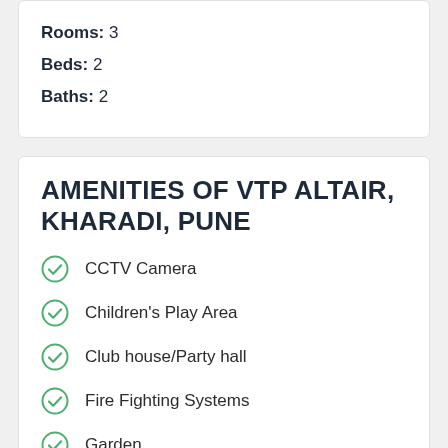Rooms: 3
Beds: 2
Baths: 2
AMENITIES OF VTP ALTAIR, KHARADI, PUNE
CCTV Camera
Children's Play Area
Club house/Party hall
Fire Fighting Systems
Garden
Gymnasium